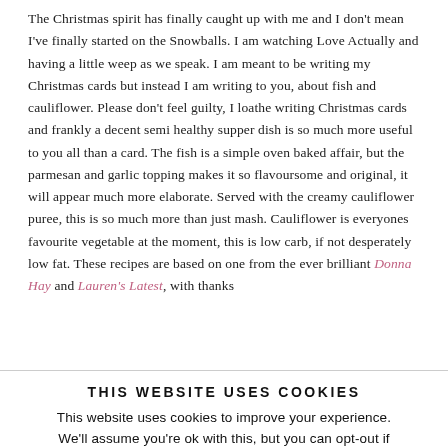The Christmas spirit has finally caught up with me and I don't mean I've finally started on the Snowballs. I am watching Love Actually and having a little weep as we speak. I am meant to be writing my Christmas cards but instead I am writing to you, about fish and cauliflower. Please don't feel guilty, I loathe writing Christmas cards and frankly a decent semi healthy supper dish is so much more useful to you all than a card. The fish is a simple oven baked affair, but the parmesan and garlic topping makes it so flavoursome and original, it will appear much more elaborate. Served with the creamy cauliflower puree, this is so much more than just mash. Cauliflower is everyones favourite vegetable at the moment, this is low carb, if not desperately low fat. These recipes are based on one from the ever brilliant Donna Hay and Lauren's Latest, with thanks
THIS WEBSITE USES COOKIES
This website uses cookies to improve your experience. We'll assume you're ok with this, but you can opt-out if you wish.